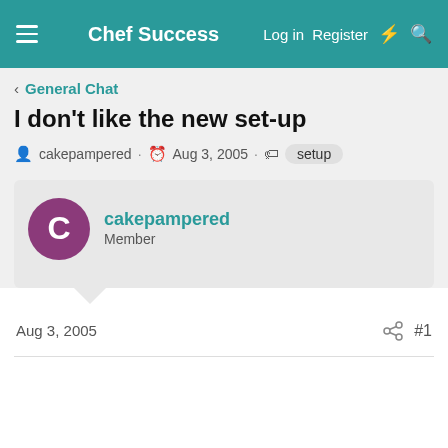Chef Success | Log in | Register
General Chat
I don't like the new set-up
cakepampered · Aug 3, 2005 · setup
cakepampered
Member
Aug 3, 2005
#1